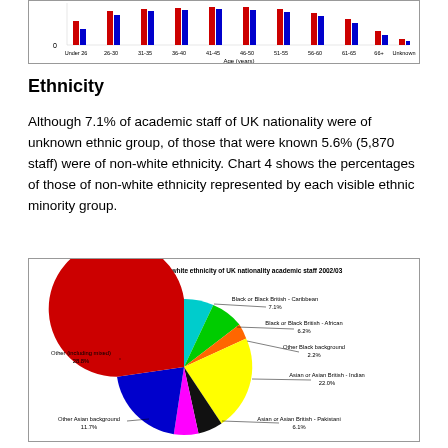[Figure (grouped-bar-chart): Partial view of bar chart showing age distribution by gender (Under 25 through Unknown), x-axis labeled Age (years)]
Ethnicity
Although 7.1% of academic staff of UK nationality were of unknown ethnic group, of those that were known 5.6% (5,870 staff) were of non-white ethnicity. Chart 4 shows the percentages of those of non-white ethnicity represented by each visible ethnic minority group.
[Figure (pie-chart): Chart 4 - Known non-white ethnicity of UK nationality academic staff 2002/03]